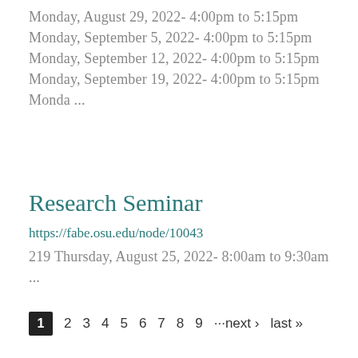Monday, August 29, 2022- 4:00pm to 5:15pm Monday, September 5, 2022- 4:00pm to 5:15pm Monday, September 12, 2022- 4:00pm to 5:15pm Monday, September 19, 2022- 4:00pm to 5:15pm Monda ...
Research Seminar
https://fabe.osu.edu/node/10043
219 Thursday, August 25, 2022- 8:00am to 9:30am ...
1 2 3 4 5 6 7 8 9 ···next › last »